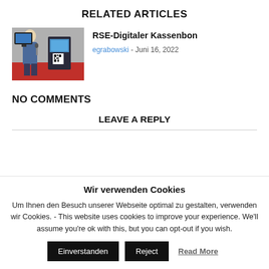RELATED ARTICLES
[Figure (photo): Photo of a person next to a digital kiosk/terminal with a screen and QR code displayed at a trade show.]
RSE-Digitaler Kassenbon
egrabowski - Juni 16, 2022
NO COMMENTS
LEAVE A REPLY
Wir verwenden Cookies
Um Ihnen den Besuch unserer Webseite optimal zu gestalten, verwenden wir Cookies. - This website uses cookies to improve your experience. We'll assume you're ok with this, but you can opt-out if you wish.
Einverstanden | Reject | Read More